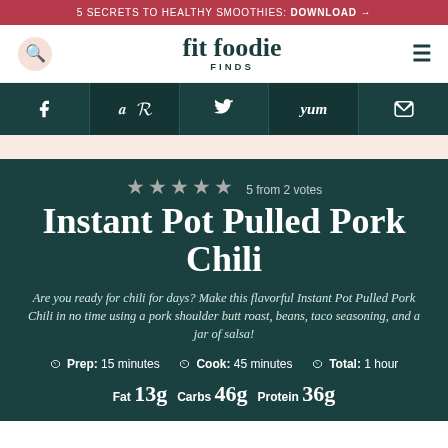5 SECRETS TO HEALTHY SMOOTHIES: DOWNLOAD →
[Figure (logo): Fit Foodie Finds logo with search icon and hamburger menu]
[Figure (infographic): Social share bar with Facebook, Pinterest, Twitter, Yum, and Email icons on dark teal background]
Instant Pot Pulled Pork Chili
Are you ready for chili for days? Make this flavorful Instant Pot Pulled Pork Chili in no time using a pork shoulder butt roast, beans, taco seasoning, and a jar of salsa!
Prep: 15 minutes  Cook: 45 minutes  Total: 1 hour
Fat 13g  Carbs 46g  Protein 36g